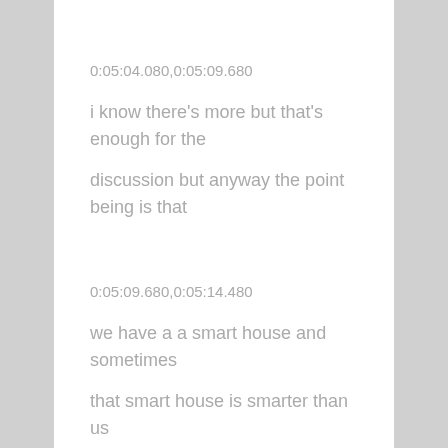0:05:04.080,0:05:09.680
i know there's more but that's enough for the
discussion but anyway the point being is that
0:05:09.680,0:05:14.480
we have a a smart house and sometimes
that smart house is smarter than us